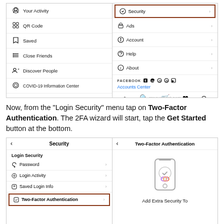[Figure (screenshot): Instagram settings screenshot showing left column menu items (Your Activity, QR Code, Saved, Close Friends, Discover People, COVID-19 Information Center) and right column menu items (Security highlighted with brown border, Ads, Account, Help, About, Facebook social links, Accounts Center, bottom navigation bar). Watermark: groovePost.com]
Now, from the “Login Security” menu tap on Two-Factor Authentication. The 2FA wizard will start, tap the Get Started button at the bottom.
[Figure (screenshot): Two side-by-side Instagram screenshots: left shows Security screen with Login Security section containing Password, Login Activity, Saved Login Info, and Two-Factor Authentication (highlighted with brown border); right shows Two-Factor Authentication screen with phone icon and text 'Add Extra Security To']